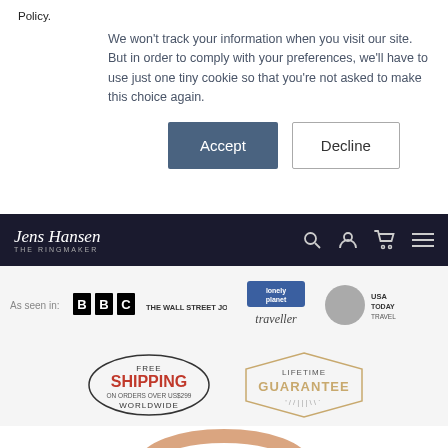Policy.
We won't track your information when you visit our site. But in order to comply with your preferences, we'll have to use just one tiny cookie so that you're not asked to make this choice again.
Accept   Decline
[Figure (logo): Jens Hansen THE RINGMAKER logo on dark navy navigation bar with search, account, cart, and menu icons]
[Figure (logo): As seen in: BBC, The Wall Street Journal, Lonely Planet Traveller, USA Today Travel logos]
[Figure (infographic): Free Shipping on Orders Over US$299 Worldwide badge and Lifetime Guarantee badge]
[Figure (photo): Rose gold ring partially visible at bottom of page]